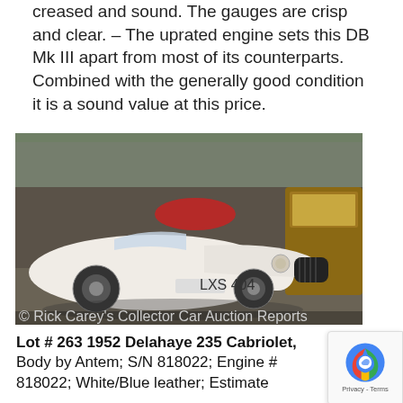creased and sound. The gauges are crisp and clear. – The uprated engine sets this DB Mk III apart from most of its counterparts. Combined with the generally good condition it is a sound value at this price.
[Figure (photo): White 1952 Delahaye 235 Cabriolet with body by Antem photographed at an indoor classic car auction show. License plate reads LXS 404. Photo credited to Rick Carey's Collector Car Auction Reports.]
© Rick Carey's Collector Car Auction Reports
Lot # 263 1952 Delahaye 235 Cabriolet, Body by Antem; S/N 818022; Engine # 818022; White/Blue leather; Estimate